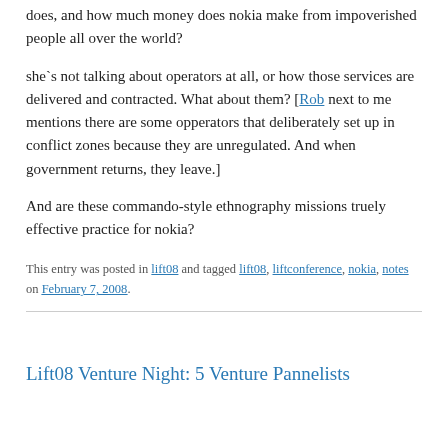does, and how much money does nokia make from impoverished people all over the world?
she`s not talking about operators at all, or how those services are delivered and contracted. What about them? [Rob next to me mentions there are some opperators that deliberately set up in conflict zones because they are unregulated. And when government returns, they leave.]
And are these commando-style ethnography missions truely effective practice for nokia?
This entry was posted in lift08 and tagged lift08, liftconference, nokia, notes on February 7, 2008.
Lift08 Venture Night: 5 Venture Pannelists